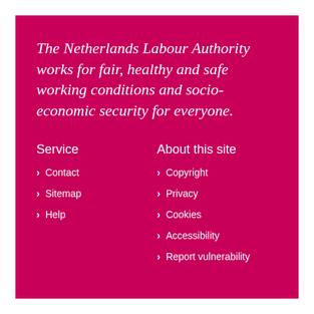The Netherlands Labour Authority works for fair, healthy and safe working conditions and socio-economic security for everyone.
Service
Contact
Sitemap
Help
About this site
Copyright
Privacy
Cookies
Accessibility
Report vulnerability